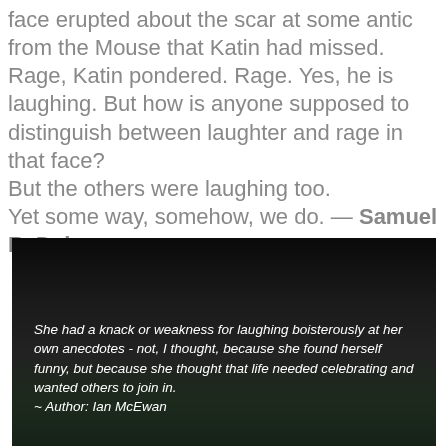face erupted about the scar at some antic from the Mouse that Katin had missed.
Rage, Katin pondered. Rage. Yes, he is laughing. But how is anyone supposed to distinguish between laughter and rage in that face?
But the others were laughing too.
Yet some way, somehow, we do. — Samuel R. Delany
[Figure (photo): Dark photograph of an interior/exterior space (doorway with view to outdoor scenery) with overlaid italic white text quote by Ian McEwan about laughing at one's own anecdotes.]